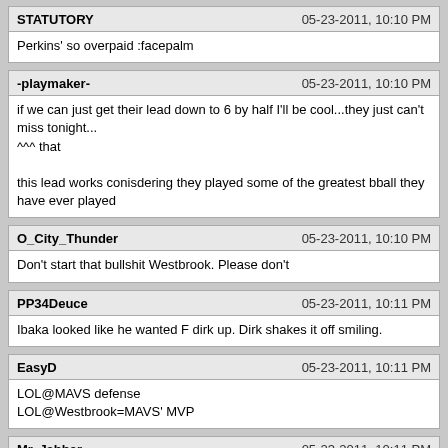STATUTORY | 05-23-2011, 10:10 PM
Perkins' so overpaid :facepalm
-playmaker- | 05-23-2011, 10:10 PM
if we can just get their lead down to 6 by half I'll be cool...they just can't miss tonight...
^^^ that

this lead works conisdering they played some of the greatest bball they have ever played
O_City_Thunder | 05-23-2011, 10:10 PM
Don't start that bullshit Westbrook. Please don't
PP34Deuce | 05-23-2011, 10:11 PM
Ibaka looked like he wanted F dirk up. Dirk shakes it off smiling.
EasyD | 05-23-2011, 10:11 PM
LOL@MAVS defense
LOL@Westbrook=MAVS' MVP
Mr. Jabbar | 05-23-2011, 10:11 PM
An enjoyable series. Unlike the whistle-fest that Chicago vs cHeat is.